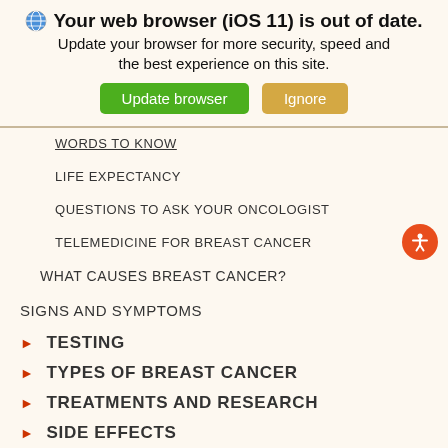[Figure (screenshot): Browser out of date warning banner showing globe icon, bold title text, subtitle text, and two buttons: green 'Update browser' and tan 'Ignore']
WORDS TO KNOW
LIFE EXPECTANCY
QUESTIONS TO ASK YOUR ONCOLOGIST
TELEMEDICINE FOR BREAST CANCER
WHAT CAUSES BREAST CANCER?
SIGNS AND SYMPTOMS
TESTING
TYPES OF BREAST CANCER
TREATMENTS AND RESEARCH
SIDE EFFECTS